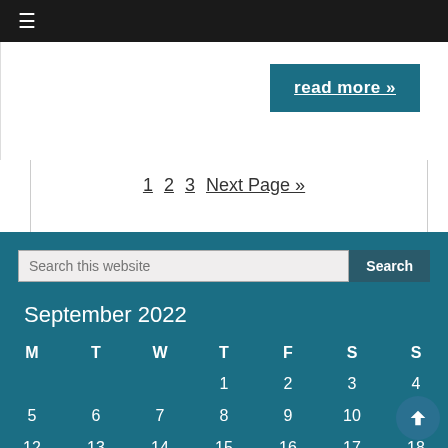≡
read more »
1 2 3 Next Page »
| M | T | W | T | F | S | S |
| --- | --- | --- | --- | --- | --- | --- |
|  |  |  | 1 | 2 | 3 | 4 |
| 5 | 6 | 7 | 8 | 9 | 10 | 11 |
| 12 | 13 | 14 | 15 | 16 | 17 | 18 |
| 19 | 20 | 21 | 22 | 23 | 24 | 25 |